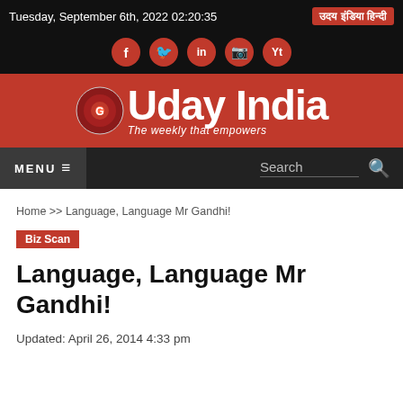Tuesday, September 6th, 2022 02:20:35
उदय इंडिया हिन्दी
[Figure (infographic): Social media icons: Facebook, Twitter, LinkedIn, Instagram, YouTube — red circular buttons on black background]
[Figure (logo): Uday India logo — red banner with circular emblem on left and white bold text 'Uday India' with tagline 'The weekly that empowers']
MENU
Search
Home >> Language, Language Mr Gandhi!
Biz Scan
Language, Language Mr Gandhi!
Updated: April 26, 2014 4:33 pm